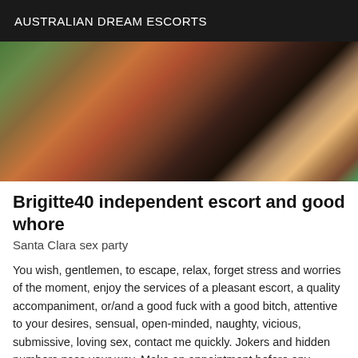AUSTRALIAN DREAM ESCORTS
[Figure (photo): Partial body photo of a woman on a bed with colorful bedding, wearing black stockings, with green and orange items visible]
Brigitte40 independent escort and good whore
Santa Clara sex party
You wish, gentlemen, to escape, relax, forget stress and worries of the moment, enjoy the services of a pleasant escort, a quality accompaniment, or/and a good fuck with a good bitch, attentive to your desires, sensual, open-minded, naughty, vicious, submissive, loving sex, contact me quickly. Jokers and hidden numbers pass your way. Make an appointment before any meeting. Kisses to all.
[Figure (photo): Partial photo at bottom of page with VIP badge in bottom right corner]